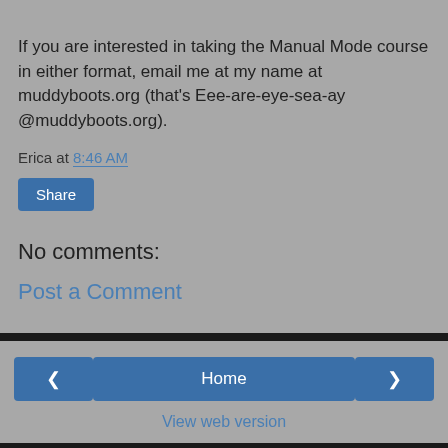If you are interested in taking the Manual Mode course in either format, email me at my name at muddyboots.org (that's Eee-are-eye-sea-ay @muddyboots.org).
Erica at 8:46 AM
Share
No comments:
Post a Comment
Home
View web version
CONTRIBUTORS
Erica
Erica_Marshall